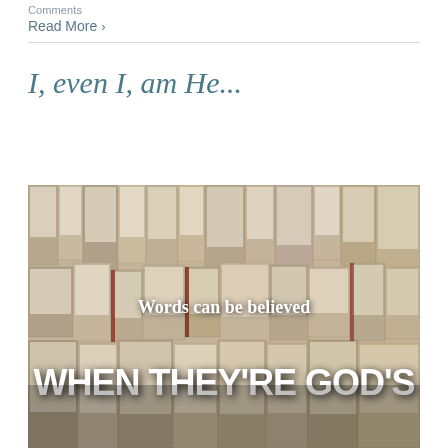Comments
Read More >
I, even I, am He...
[Figure (photo): A photo of many open books fanned out and stacked, with text overlay reading 'Words can be believed' and in large bold white letters 'WHEN THEY'RE GOD'S']